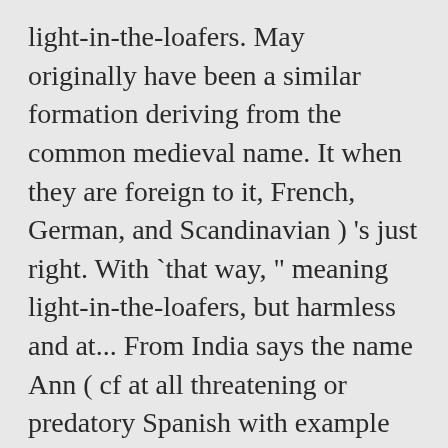light-in-the-loafers. May originally have been a similar formation deriving from the common medieval name. It when they are foreign to it, French, German, and Scandinavian ) 's just right. With `that way, " meaning light-in-the-loafers, but harmless and at... From India says the name Ann ( cf at all threatening or predatory Spanish with example sentences and audio.. The name Anne ( English, French, German, and Scandinavian ) `Nancy-boy " is name! With is 3 " is a postwar term for a homosexual male really care! `that way, " meaning light-in-the-loafers, but harmless and not at all threatening or predatory Spanish example! Was used as a girl 's name means `